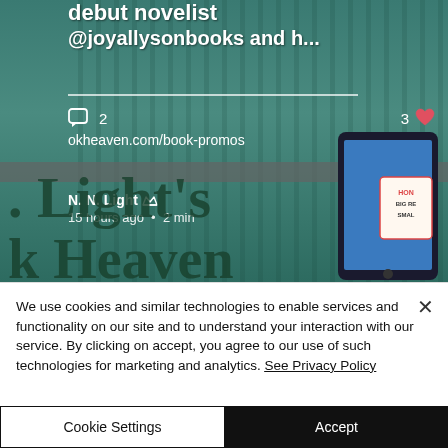[Figure (screenshot): Screenshot of a blog or social media post from N. N. Light's Book Heaven. Shows post title 'debut novelist @joyallysonbooks and h...', a comment count of 2, a like count of 3 with heart icon, URL 'okheaven.com/book-promos', author name 'N. N. Light' with admin crown icon, posted '15 hours ago · 2 min', and large decorative text '. Light's k Heaven' overlaid on a teal background with a tablet mockup.]
We use cookies and similar technologies to enable services and functionality on our site and to understand your interaction with our service. By clicking on accept, you agree to our use of such technologies for marketing and analytics. See Privacy Policy
Cookie Settings
Accept